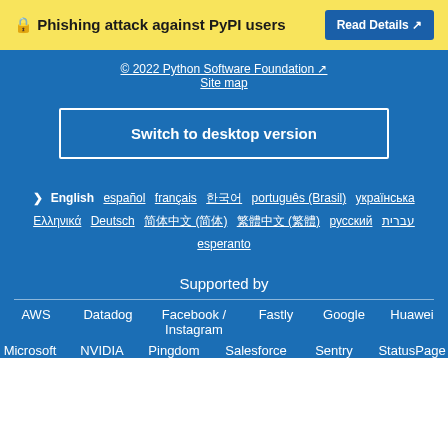🔒 Phishing attack against PyPI users   Read Details ↗
© 2022 Python Software Foundation ↗
Site map
Switch to desktop version
› English  español  français  한국어  português (Brasil)  українська  Ελληνικά  Deutsch  简体中文 (简体)  繁體中文 (繁體)  русский  עברית  esperanto
Supported by
AWS  Datadog  Facebook / Instagram  Fastly  Google  Huawei  Microsoft  NVIDIA  Pingdom  Salesforce  Sentry  StatusPage